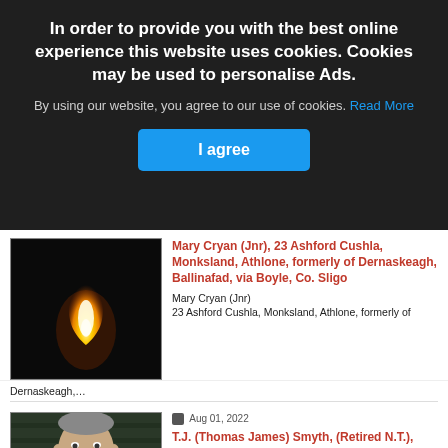In order to provide you with the best online experience this website uses cookies. Cookies may be used to personalise Ads.
By using our website, you agree to our use of cookies. Read More
I agree
[Figure (photo): Photo of a candle flame against a black background]
Mary Cryan (Jnr), 23 Ashford Cushla, Monksland, Athlone, formerly of Dernaskeagh, Ballinafad, via Boyle, Co. Sligo
Mary Cryan (Jnr)
23 Ashford Cushla, Monksland, Athlone, formerly of Dernaskeagh,...
[Figure (photo): Portrait photo of an elderly man against a dark bookshelf background]
Aug 01, 2022
T.J. (Thomas James) Smyth, (Retired N.T.), Tarrea, Ballinderreen, Co. Galway and formerly of Straida, Co. Mayo